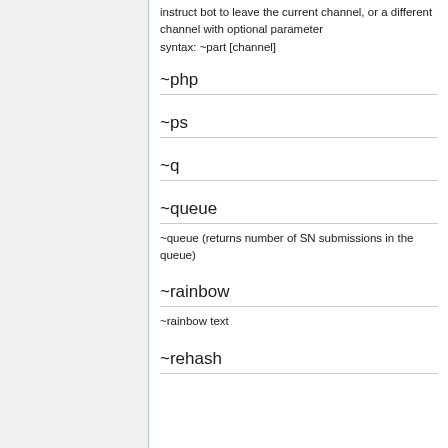instruct bot to leave the current channel, or a different channel with optional parameter
syntax: ~part [channel]
~php
~ps
~q
~queue
~queue (returns number of SN submissions in the queue)
~rainbow
~rainbow text
~rehash